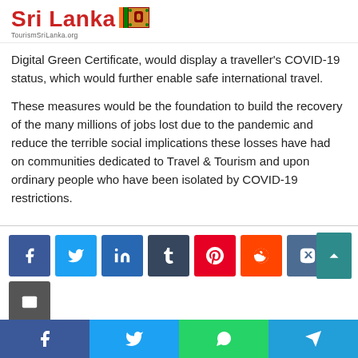Sri Lanka — TourismSriLanka.org
Digital Green Certificate, would display a traveller's COVID-19 status, which would further enable safe international travel.
These measures would be the foundation to build the recovery of the many millions of jobs lost due to the pandemic and reduce the terrible social implications these losses have had on communities dedicated to Travel & Tourism and upon ordinary people who have been isolated by COVID-19 restrictions.
[Figure (infographic): Social media share buttons: Facebook (blue), Twitter (light blue), LinkedIn (dark blue), Tumblr (dark navy), Pinterest (red), Reddit (orange), VK (steel blue), Email (dark gray), Print (gray). Below: mobile bottom bar with Facebook, Twitter, WhatsApp, Telegram icons.]